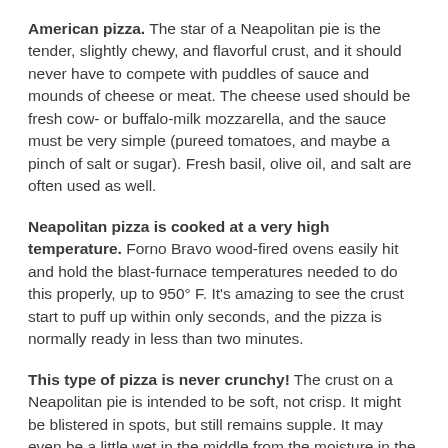American pizza. The star of a Neapolitan pie is the tender, slightly chewy, and flavorful crust, and it should never have to compete with puddles of sauce and mounds of cheese or meat. The cheese used should be fresh cow- or buffalo-milk mozzarella, and the sauce must be very simple (pureed tomatoes, and maybe a pinch of salt or sugar). Fresh basil, olive oil, and salt are often used as well.
Neapolitan pizza is cooked at a very high temperature. Forno Bravo wood-fired ovens easily hit and hold the blast-furnace temperatures needed to do this properly, up to 950° F. It's amazing to see the crust start to puff up within only seconds, and the pizza is normally ready in less than two minutes.
This type of pizza is never crunchy! The crust on a Neapolitan pie is intended to be soft, not crisp. It might be blistered in spots, but still remains supple. It may even be a little wet in the middle from the moisture in the sauce and cheese.
Some classic varieties of Neapolitan pizza are the margherita (sauce, cheese, and basil), marinara (sauce, garlic, oregano, and basil — no cheese), and filetti (cheese, cherry tomatoes, and garlic — no sauce). Beyond these styles, the only limit is your